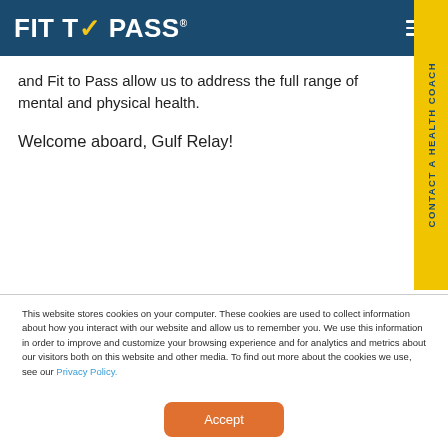FIT TO PASS
and Fit to Pass allow us to address the full range of mental and physical health.
Welcome aboard, Gulf Relay!
This website stores cookies on your computer. These cookies are used to collect information about how you interact with our website and allow us to remember you. We use this information in order to improve and customize your browsing experience and for analytics and metrics about our visitors both on this website and other media. To find out more about the cookies we use, see our Privacy Policy.